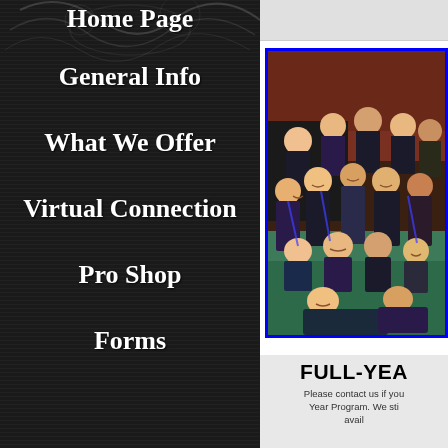Home Page
General Info
What We Offer
Virtual Connection
Pro Shop
Forms
[Figure (photo): Group photo of cheerleaders in black and blue uniforms posed together on a teal carpet floor]
FULL-YEA
Please contact us if you Year Program. We sti avail